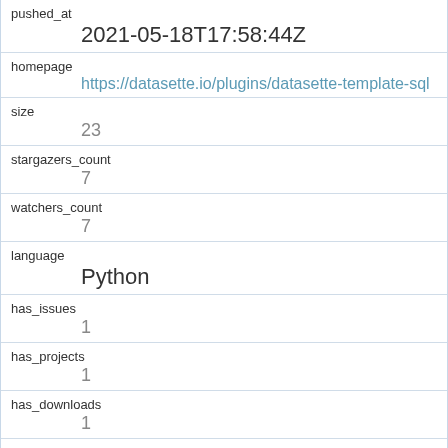| field | value |
| --- | --- |
| pushed_at | 2021-05-18T17:58:44Z |
| homepage | https://datasette.io/plugins/datasette-template-sql |
| size | 23 |
| stargazers_count | 7 |
| watchers_count | 7 |
| language | Python |
| has_issues | 1 |
| has_projects | 1 |
| has_downloads | 1 |
| has_wiki | 1 |